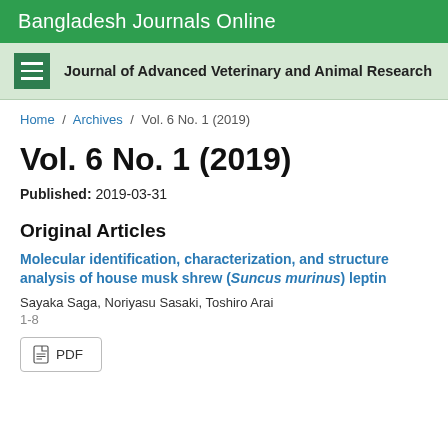Bangladesh Journals Online
Journal of Advanced Veterinary and Animal Research
Home / Archives / Vol. 6 No. 1 (2019)
Vol. 6 No. 1 (2019)
Published: 2019-03-31
Original Articles
Molecular identification, characterization, and structure analysis of house musk shrew (Suncus murinus) leptin
Sayaka Saga, Noriyasu Sasaki, Toshiro Arai
1-8
PDF